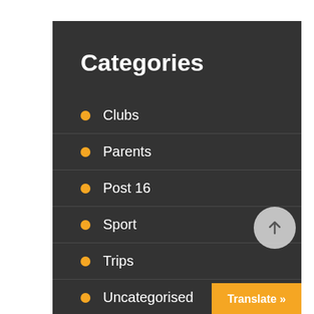Categories
Clubs
Parents
Post 16
Sport
Trips
Uncategorised
Years 10-11 (KS4)
Years 7-9 (KS3)